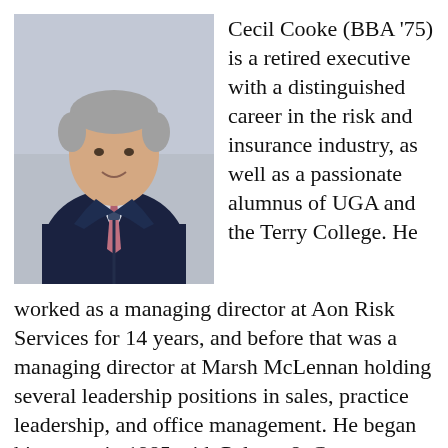[Figure (photo): Headshot of Cecil Cooke, a man in a dark zip-up jacket with a pink patterned tie, smiling, photographed outdoors.]
Cecil Cooke (BBA '75) is a retired executive with a distinguished career in the risk and insurance industry, as well as a passionate alumnus of UGA and the Terry College. He worked as a managing director at Aon Risk Services for 14 years, and before that was a managing director at Marsh McLennan holding several leadership positions in sales, practice leadership, and office management. He began his career in 1985 with Palmer & Cay as a producer, holding positions of commercial sales manager in Savannah and office head in Charlotte, N.C. In 2020, he received the Walter H.